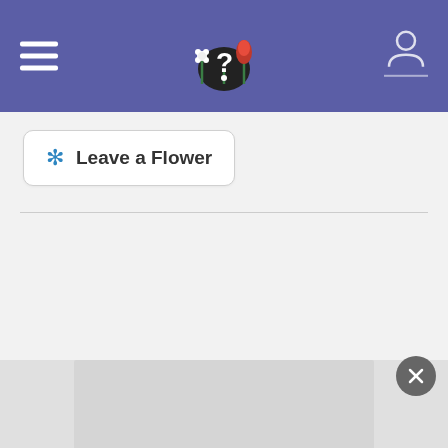Navigation header with hamburger menu, flower/question mark logo, and user icon
[Figure (screenshot): Leave a Flower button with blue flower asterisk icon and rounded rectangle border]
[Figure (screenshot): Bottom panel with a dark close (X) button in bottom right corner]